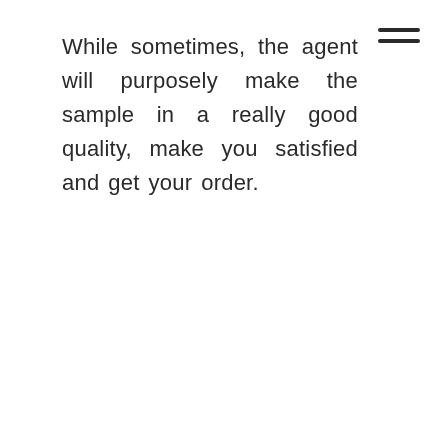While sometimes, the agent will purposely make the sample in a really good quality, make you satisfied and get your order.